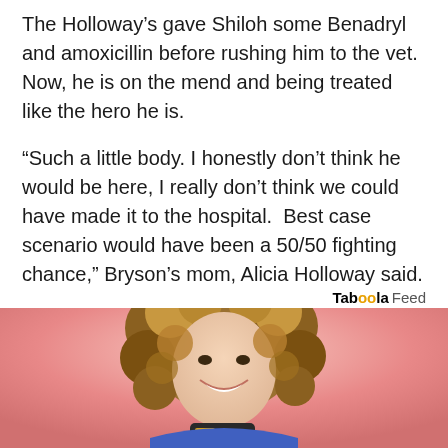The Holloway's gave Shiloh some Benadryl and amoxicillin before rushing him to the vet. Now, he is on the mend and being treated like the hero he is.
"Such a little body. I honestly don't think he would be here, I really don't think we could have made it to the hospital. Best case scenario would have been a 50/50 fighting chance," Bryson's mom, Alicia Holloway said.
Taboola Feed
[Figure (photo): Young woman with curly hair smiling and holding a credit card against a pink background]